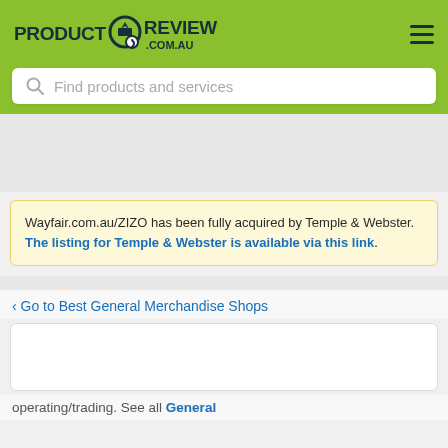PRODUCT REVIEW .COM.AU
Find products and services
Wayfair.com.au/ZIZO has been fully acquired by Temple & Webster. The listing for Temple & Webster is available via this link.
< Go to Best General Merchandise Shops
operating/trading. See all General